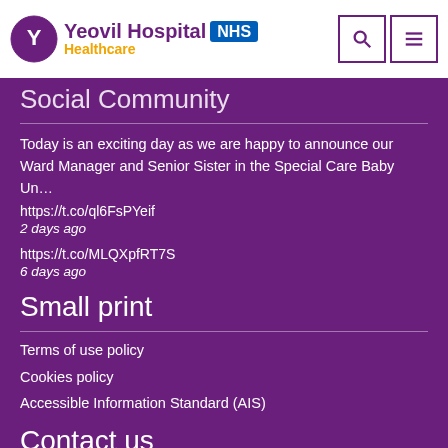Yeovil Hospital NHS Healthcare
Social Community
Today is an exciting day as we are happy to announce our Ward Manager and Senior Sister in the Special Care Baby Un…
https://t.co/ql6FsPYeif
2 days ago
https://t.co/MLQXpfRT7S
6 days ago
Small print
Terms of use policy
Cookies policy
Accessible Information Standard (AIS)
Contact us
Tel: 01935 475122